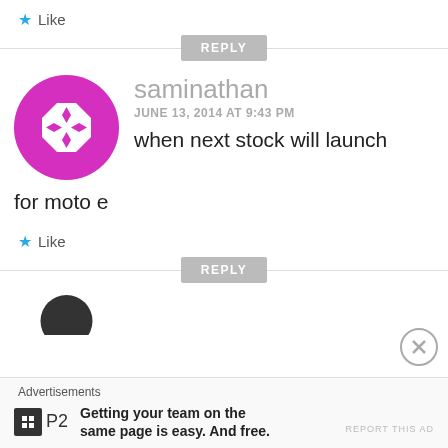★ Like
REPLY
[Figure (illustration): Circular avatar with purple/magenta geometric quilt pattern on white background]
saminathan
JUNE 13, 2014 AT 9:43 PM
when next stock will launch for moto e
★ Like
REPLY
[Figure (illustration): Partial black circular avatar at bottom]
Advertisements
[Figure (logo): P2 logo - dark square with grid icon and P2 text]
Getting your team on the same page is easy. And free.